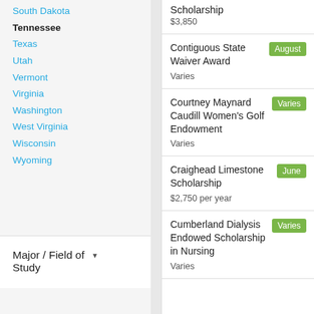South Dakota
Tennessee
Texas
Utah
Vermont
Virginia
Washington
West Virginia
Wisconsin
Wyoming
Major / Field of Study
Scholarship
$3,850
Contiguous State Waiver Award
Varies
Courtney Maynard Caudill Women's Golf Endowment
Varies
Craighead Limestone Scholarship
$2,750 per year
Cumberland Dialysis Endowed Scholarship in Nursing
Varies